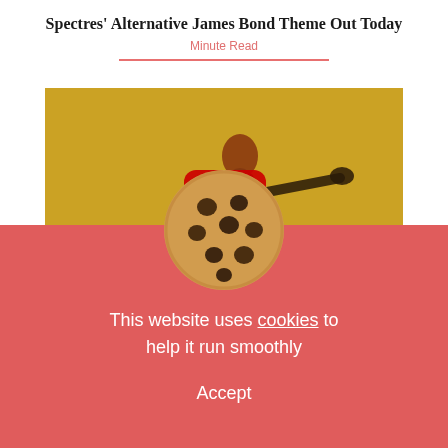Spectres’ Alternative James Bond Theme Out Today
Minute Read
[Figure (screenshot): YouTube video thumbnail showing a figure against a golden/yellow background with a YouTube play button overlay in the center]
[Figure (illustration): Chocolate chip cookie illustration overlapping the video and red cookie consent banner]
This website uses cookies to help it run smoothly
Accept